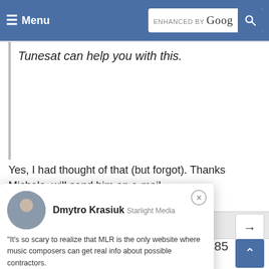≡ Menu | ENHANCED BY Google [search]
Tunesat can help you with this.
Yes, I had thought of that (but forgot). Thanks Michele, will send him an e-mail.
| Author | Posts |
| --- | --- |
Viewing 15 posts - 16 through 30 (of 85
Dmytro Krasiuk Starlight Media
"It's so scary to realize that MLR is the only website where music composers can get real info about possible contractors.
None of similar services exists.
This beacon of light should be treated with care, considering its ultimate value."